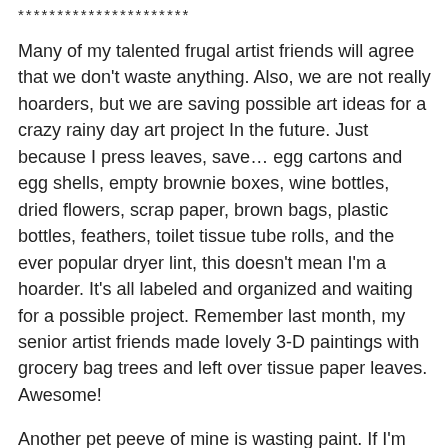**********************
Many of my talented frugal artist friends will agree that we don't waste anything. Also, we are not really hoarders, but we are saving possible art ideas for a crazy rainy day art project In the future. Just because I press leaves, save… egg cartons and egg shells, empty brownie boxes, wine bottles, dried flowers, scrap paper, brown bags, plastic bottles, feathers, toilet tissue tube rolls, and the ever popular dryer lint, this doesn't mean I'm a hoarder. It's all labeled and organized and waiting for a possible project. Remember last month, my senior artist friends made lovely 3-D paintings with grocery bag trees and left over tissue paper leaves. Awesome!
Another pet peeve of mine is wasting paint. If I'm working